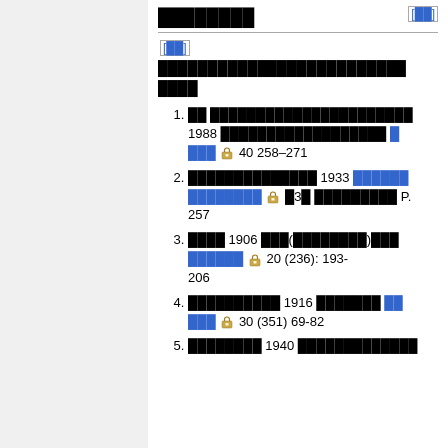[section title in Thai script]
[subsection title in Thai script] [ref]
1. [Thai text] 1988 [Thai text] [link] [lock] 40 258–271
2. [Thai text] 1933 [link] [Thai text] [lock] [Thai] P. 257
3. [Thai text] 1906 [Thai](some)[Thai] [link] [Thai] [lock] 20 (236): 193-206
4. [Thai text] 1916 [Thai text] [link] [lock] 30 (351) 69-82
5. [Thai text] 1940 [Thai text]...